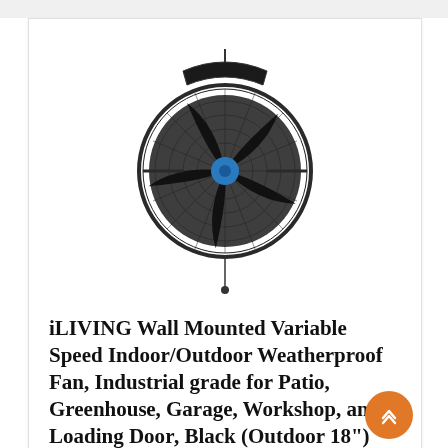[Figure (photo): Black industrial wall-mounted fan with circular wire grille, 5 dark blades, blue center cap, metal mounting bracket at top, and pull cord hanging below. Photographed on white background.]
iLIVING Wall Mounted Variable Speed Indoor/Outdoor Weatherproof Fan, Industrial grade for Patio, Greenhouse, Garage, Workshop, and Loading Dock, Black (Outdoor 18")